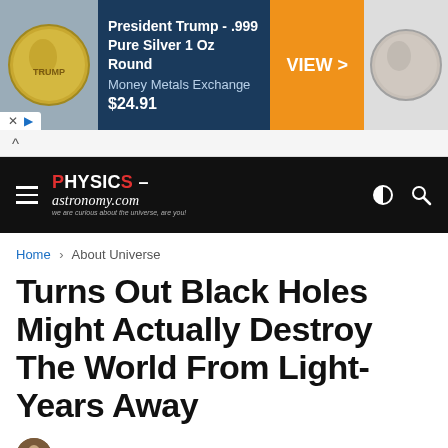[Figure (infographic): Advertisement banner for President Trump .999 Pure Silver 1 Oz Round from Money Metals Exchange priced at $24.91, with a VIEW button in orange, coin images on both sides, on dark blue background.]
PHYSICS-astronomy.com — we are curious about the universe, are you!
Home > About Universe
Turns Out Black Holes Might Actually Destroy The World From Light-Years Away
by Mirza Newton · June 12, 2022   0